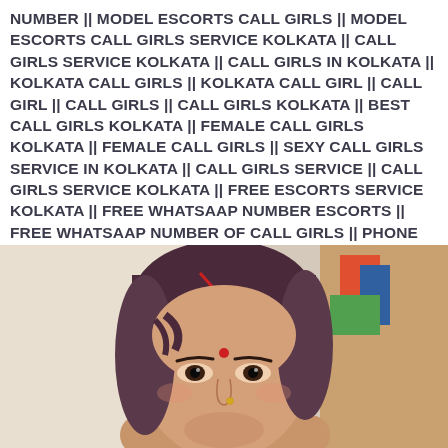NUMBER || MODEL ESCORTS CALL GIRLS || MODEL ESCORTS CALL GIRLS SERVICE KOLKATA || CALL GIRLS SERVICE KOLKATA || CALL GIRLS IN KOLKATA || KOLKATA CALL GIRLS || KOLKATA CALL GIRL || CALL GIRL || CALL GIRLS || CALL GIRLS KOLKATA || BEST CALL GIRLS KOLKATA || FEMALE CALL GIRLS KOLKATA || FEMALE CALL GIRLS || SEXY CALL GIRLS SERVICE IN KOLKATA || CALL GIRLS SERVICE || CALL GIRLS SERVICE KOLKATA || FREE ESCORTS SERVICE KOLKATA || FREE WHATSAAP NUMBER ESCORTS || FREE WHATSAAP NUMBER OF CALL GIRLS || PHONE NUMBER OF ESCORTS SERVICE || FREE PHONE NUMBER ESCORTS SERVICE || MOBILE NUMBER OF ESCORTS SERVICE || BENGOLI ESCORTS GIRLS || BENGOLI CALL GIRLS KOLKATA || KOLKATA CALL GIRL PHONE NUMBER
[Figure (photo): Portrait photo of a young woman with dark hair, wearing a bindi and nose ring, looking at the camera with a slight smile. Background is light/indoor setting.]